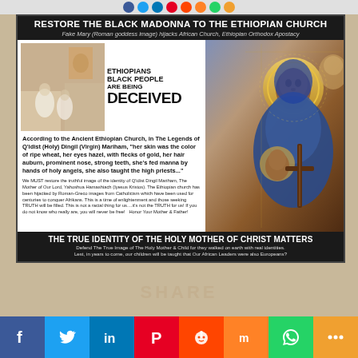[Figure (infographic): Row of colored social media circle icons at top]
RESTORE THE BLACK MADONNA TO THE ETHIOPIAN CHURCH
Fake Mary (Roman goddess image) hijacks African Church, Ethiopian Orthodox Apostacy
[Figure (photo): Photo of Ethiopian church interior with worshippers in white robes]
[Figure (infographic): Text graphic: ETHIOPIANS BLACK PEOPLE ARE BEING DECEIVED]
[Figure (illustration): Ethiopian Orthodox icon painting of dark-skinned Madonna and Child with halos and cross]
According to the Ancient Ethiopian Church, in The Legends of Q'idist (Holy) Dingil (Virgin) Mariham, "her skin was the color of ripe wheat, her eyes hazel, with flecks of gold, her hair auburn, prominent nose, strong teeth, she's fed manna by hands of holy angels, she also taught the high priests..."
We MUST restore the truthful image of the identity of Q'idist Dingil Mariham, The Mother of Our Lord, Yahoshua Hamashiach (Iyesus Kristos). The Ethiopian church has been hijacked by Roman-Greco images from Catholicism which have been used for centuries to conquer Afrikans. This is a time of enlightenment and those seeking TRUTH will be filled. This is not a racial thing for us....it's not the TRUTH for us! If you do not know who really are, you will never be free! Honor Your Mother & Father!
THE TRUE IDENTITY OF THE HOLY MOTHER OF CHRIST MATTERS
Defend The True Image of The Holy Mother & Child for they walked on earth with real identities. Lest, in years to come, our children will be taught that Our African Leaders were also Europeans?
[Figure (infographic): Bottom social media share bar with Facebook, Twitter, LinkedIn, Pinterest, Reddit, Mix, WhatsApp, More buttons]